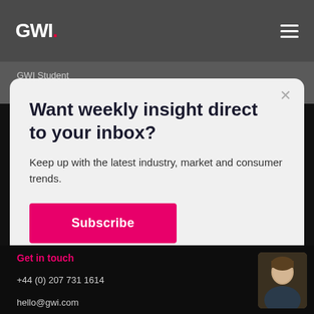GWI.
GWI Student
Want weekly insight direct to your inbox?
Keep up with the latest industry, market and consumer trends.
Subscribe
Help
Get in touch
+44 (0) 207 731 1614
hello@gwi.com